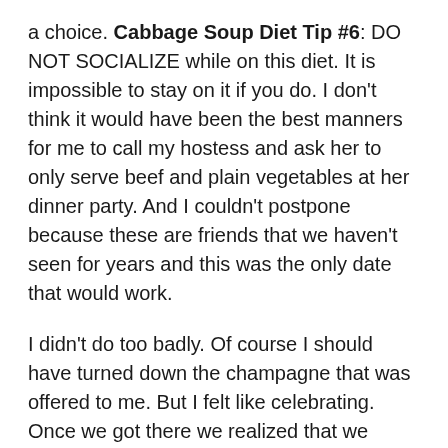a choice. Cabbage Soup Diet Tip #6: DO NOT SOCIALIZE while on this diet. It is impossible to stay on it if you do. I don't think it would have been the best manners for me to call my hostess and ask her to only serve beef and plain vegetables at her dinner party. And I couldn't postpone because these are friends that we haven't seen for years and this was the only date that would work.
I didn't do too badly. Of course I should have turned down the champagne that was offered to me. But I felt like celebrating. Once we got there we realized that we hadn't gotten together for dinner in almost ten years! (That's what happens when you keep in touch via email and run into each other at the soccer fields and grocery stores – you feel like you actually see each other.) So I had a few glasses of champagne (champagne flutes are small) before